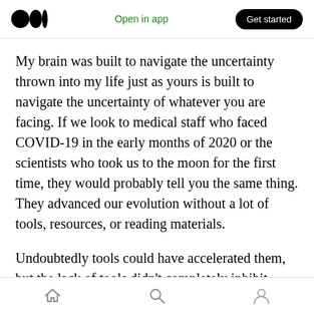Open in app | Get started
My brain was built to navigate the uncertainty thrown into my life just as yours is built to navigate the uncertainty of whatever you are facing. If we look to medical staff who faced COVID-19 in the early months of 2020 or the scientists who took us to the moon for the first time, they would probably tell you the same thing. They advanced our evolution without a lot of tools, resources, or reading materials.
Undoubtedly tools could have accelerated them, but the lack of tools didn’t completely inhibit
Home | Search | Profile